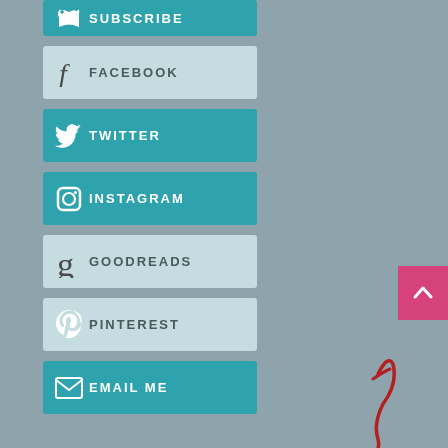[Figure (infographic): Social media buttons: Subscribe (teal), Facebook (light blue), Twitter (teal), Instagram (teal), Goodreads (light blue), Pinterest (teal), Email Me (teal). Each button has an icon and label text.]
[Figure (illustration): Partial red cursive signature at bottom right of page]
[Figure (other): Pink back-to-top button with upward chevron arrow at right edge]